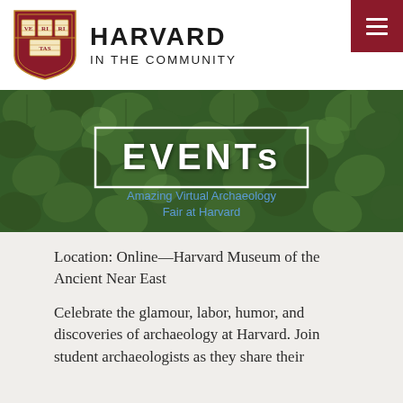[Figure (logo): Harvard in the Community logo with Harvard shield/crest and text 'HARVARD IN THE COMMUNITY']
[Figure (photo): Green ivy leaves background with 'EVENTS' text in a white-bordered box overlay, and a partially visible blue link text 'Amazing Virtual Archaeology Fair at Harvard']
Location: Online—Harvard Museum of the Ancient Near East
Celebrate the glamour, labor, humor, and discoveries of archaeology at Harvard. Join student archaeologists as they share their